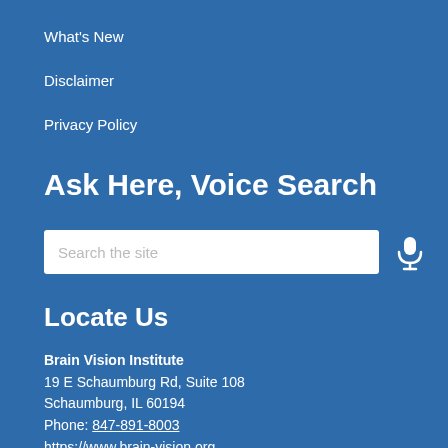What's New
Disclaimer
Privacy Policy
Ask Here, Voice Search
[Figure (other): Search bar with placeholder text 'Search the site' and a microphone icon button]
Locate Us
Brain Vision Institute
19 E Schaumburg Rd, Suite 108
Schaumburg, IL 60194
Phone: 847-891-8003
https://www.brain-vision.org